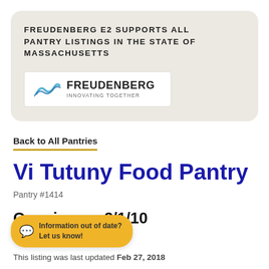FREUDENBERG E2 SUPPORTS ALL PANTRY LISTINGS IN THE STATE OF MASSACHUSETTS
[Figure (logo): Freudenberg logo with wave graphic and tagline 'INNOVATING TOGETHER']
Back to All Pantries
Vi Tutuny Food Pantry
Pantry #1414
Opening on 2/1/10
Information out of date? Let us know!
This listing was last updated Feb 27, 2018